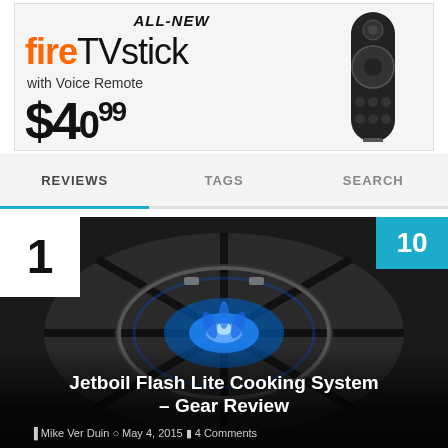[Figure (photo): Amazon Fire TV Stick with Voice Remote advertisement banner showing product name, tagline, and price $49.99 with image of the remote]
[Figure (screenshot): Navigation tab bar with three tabs: REVIEWS (active, underlined in teal), TAGS, SEARCH]
[Figure (photo): Article card showing rank badge '1' top-left, score badge '10' top-right in teal, background photo of Jetboil Flash Lite Cooking System, article title 'Jetboil Flash Lite Cooking System – Gear Review', author Mike Ver Duin, date May 4 2015, 4 Comments]